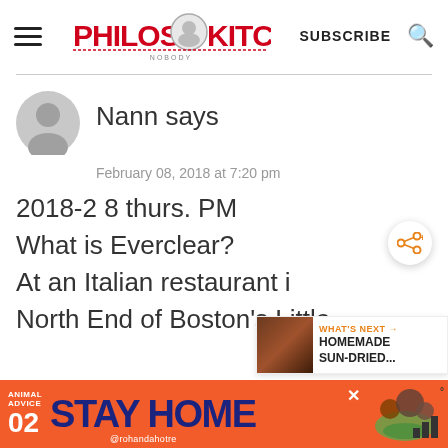Philos Kitchen — SUBSCRIBE
Nann says
February 08, 2018 at 7:20 pm
2018-2 8 thurs. PM
What is Everclear?
At an Italian restaurant i...
North End of Boston's Little
[Figure (other): WHAT'S NEXT: HOMEMADE SUN-DRIED... promotional overlay]
[Figure (other): Bottom advertisement banner: ANIMAL ADVICE 02 STAY HOME @rohandahotre]